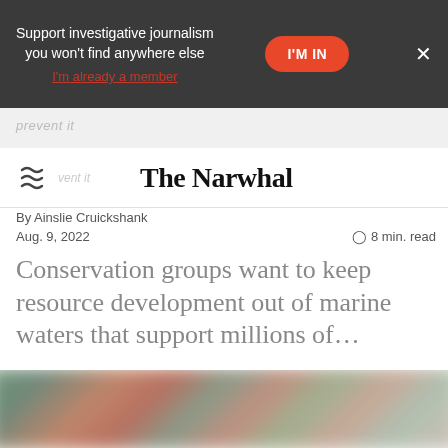Support investigative journalism you won't find anywhere else | I'M IN | I'm already a member | ×
The Narwhal
By Ainslie Cruickshank
Aug. 9, 2022 · 8 min. read
Conservation groups want to keep resource development out of marine waters that support millions of...
[Figure (photo): A blurred photograph visible at the bottom of the page, showing what appears to be reddish and green natural tones, possibly a marine or nature scene.]